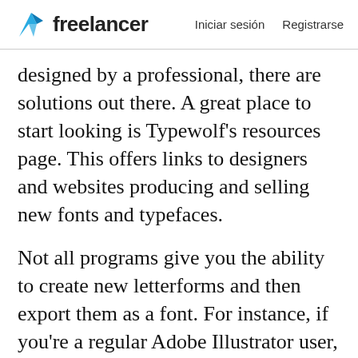freelancer  Iniciar sesión  Registrarse
designed by a professional, there are solutions out there. A great place to start looking is Typewolf’s resources page. This offers links to designers and websites producing and selling new fonts and typefaces.
Not all programs give you the ability to create new letterforms and then export them as a font. For instance, if you’re a regular Adobe Illustrator user, creating a new typeface will require a switch in